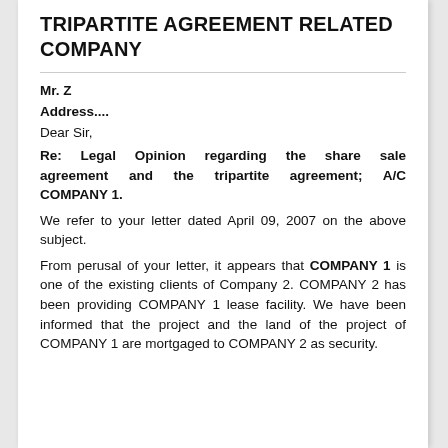TRIPARTITE AGREEMENT RELATED COMPANY
Mr. Z
Address....
Dear Sir,
Re: Legal Opinion regarding the share sale agreement and the tripartite agreement; A/C COMPANY 1.
We refer to your letter dated April 09, 2007 on the above subject.
From perusal of your letter, it appears that COMPANY 1 is one of the existing clients of Company 2. COMPANY 2 has been providing COMPANY 1 lease facility. We have been informed that the project and the land of the project of COMPANY 1 are mortgaged to COMPANY 2 as security.